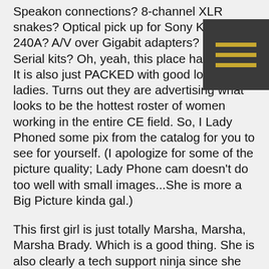Speakon connections? 8-channel XLR snakes? Optical pick up for Sony KSS-240A? A/V over Gigabit adapters? USB to Serial kits? Oh, yeah, this place has got it.  It is also just PACKED with good looking ladies. Turns out they are advertising what looks to be the hottest roster of women working in the entire CE field. So, I Lady Phoned some pix from the catalog for you to see for yourself. (I apologize for some of the picture quality; Lady Phone cam doesn't do too well with small images...She is more a Big Picture kinda gal.)
This first girl is just totally Marsha, Marsha, Marsha Brady. Which is a good thing. She is also clearly a tech support ninja since she has garnered her the cover spot. Also, I'm pretty sure that she'll hook you up with FREE GROUND SHIPPING with a total smile and cute little laugh cause that's how she do. I'm also sure that you can request her for all of your needs. Tech support needs, I mean.